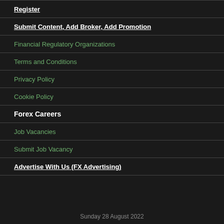Register
Submit Content, Add Broker, Add Promotion
Financial Regulatory Organizations
Terms and Conditions
Privacy Policy
Cookie Policy
Forex Careers
Job Vacancies
Submit Job Vacancy
Advertise With Us (FX Advertising)
Sunday 28 August 2022